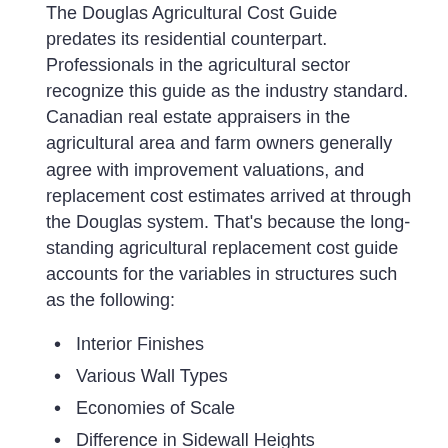The Douglas Agricultural Cost Guide predates its residential counterpart. Professionals in the agricultural sector recognize this guide as the industry standard. Canadian real estate appraisers in the agricultural area and farm owners generally agree with improvement valuations, and replacement cost estimates arrived at through the Douglas system. That's because the long-standing agricultural replacement cost guide accounts for the variables in structures such as the following:
Interior Finishes
Various Wall Types
Economies of Scale
Difference in Sidewall Heights
Equipment
The materials and architectural designs found in agricultural structures differ immensely from residential and commercial properties. Accurate structure appraisals require a specialized valuation tool developed by an experienced